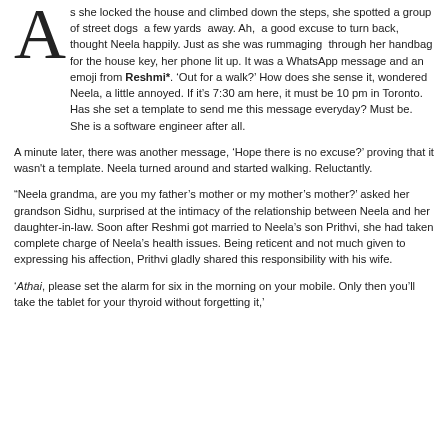As she locked the house and climbed down the steps, she spotted a group of street dogs a few yards away. Ah, a good excuse to turn back, thought Neela happily. Just as she was rummaging through her handbag for the house key, her phone lit up. It was a WhatsApp message and an emoji from Reshmi*. 'Out for a walk?' How does she sense it, wondered Neela, a little annoyed. If it's 7:30 am here, it must be 10 pm in Toronto. Has she set a template to send me this message everyday? Must be. She is a software engineer after all.
A minute later, there was another message, 'Hope there is no excuse?' proving that it wasn't a template. Neela turned around and started walking. Reluctantly.
“Neela grandma, are you my father’s mother or my mother’s mother?’ asked her grandson Sidhu, surprised at the intimacy of the relationship between Neela and her daughter-in-law. Soon after Reshmi got married to Neela’s son Prithvi, she had taken complete charge of Neela’s health issues. Being reticent and not much given to expressing his affection, Prithvi gladly shared this responsibility with his wife.
‘Athai, please set the alarm for six in the morning on your mobile. Only then you’ll take the tablet for your thyroid without forgetting it,’